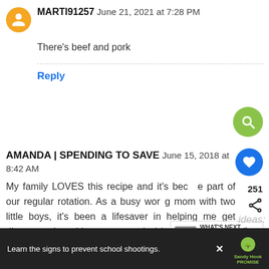MARTI91257 June 21, 2021 at 7:28 PM
There's beef and pork
Reply
AMANDA | SPENDING TO SAVE June 15, 2018 at 8:42 AM
My family LOVES this recipe and it's become a part of our regular rotation. As a busy working mom with two little boys, it's been a lifesaver in helping me get dinner on the table so much, I just included it in my roundup of fast dinner ideas:
Learn the signs to prevent school shootings.